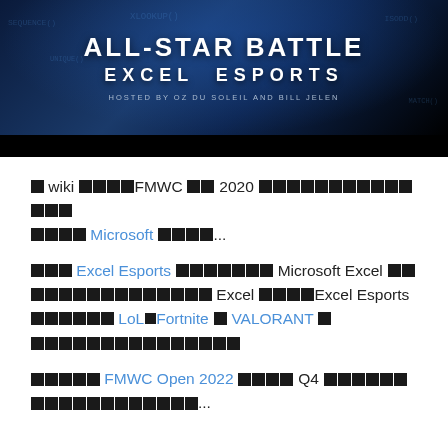[Figure (photo): All-Star Battle Excel Esports banner image with dark blue gaming background, large white bold text reading ALL-STAR BATTLE and EXCEL ESPORTS, hosted by Oz du Soleil and Bill Jelen, with Excel function names overlaid in the background.]
■ wiki ■■■■FMWC ■■ 2020 ■■■■■■■■■■■■■■ ■■■■ Microsoft ■■■■...
■■■ Excel Esports ■■■■■■■ Microsoft Excel ■■■■■■■■■■■■■■■■ Excel ■■■■Excel Esports ■■■■■■ LoL■Fortnite ■ VALORANT ■ ■■■■■■■■■■■■■■■
■■■■■ FMWC Open 2022 ■■■■ Q4 ■■■■■■ ■■■■■■■■■■■■...